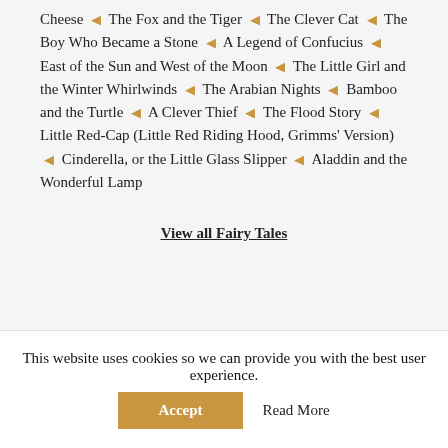Cheese ❧ The Fox and the Tiger ❧ The Clever Cat ❧ The Boy Who Became a Stone ❧ A Legend of Confucius ❧ East of the Sun and West of the Moon ❧ The Little Girl and the Winter Whirlwinds ❧ The Arabian Nights ❧ Bamboo and the Turtle ❧ A Clever Thief ❧ The Flood Story ❧ Little Red-Cap (Little Red Riding Hood, Grimms' Version) ❧ Cinderella, or the Little Glass Slipper ❧ Aladdin and the Wonderful Lamp
View all Fairy Tales
This website uses cookies so we can provide you with the best user experience.